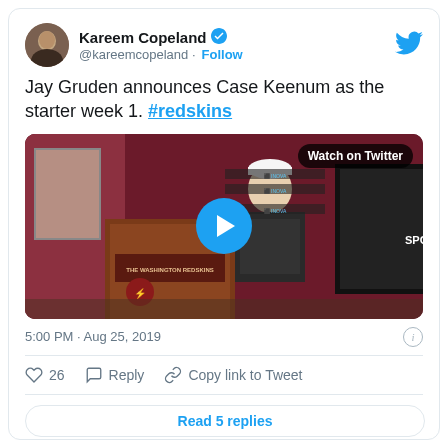Kareem Copeland @kareemcopeland · Follow
Jay Gruden announces Case Keenum as the starter week 1. #redskins
[Figure (screenshot): Video thumbnail of a press conference showing a man in a white cap at a podium labeled THE WASHINGTON REDSKINS, with a dark backdrop showing sponsor logos. A blue play button circle is centered. Text overlay: Watch on Twitter.]
5:00 PM · Aug 25, 2019
♡ 26   Reply   Copy link to Tweet
Read 5 replies